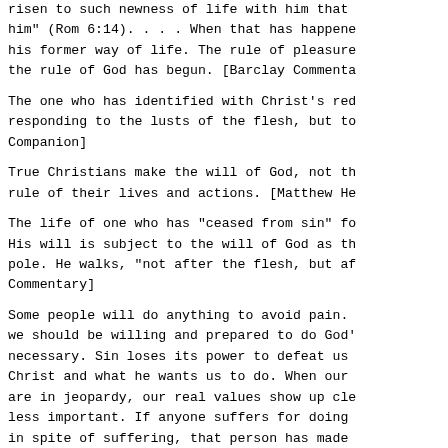risen to such newness of life with him that him" (Rom 6:14). . . . When that has happened his former way of life. The rule of pleasure the rule of God has begun. [Barclay Commenta
The one who has identified with Christ's red responding to the lusts of the flesh, but to Companion]
True Christians make the will of God, not th rule of their lives and actions. [Matthew He
The life of one who has "ceased from sin" fo His will is subject to the will of God as th pole. He walks, "not after the flesh, but af Commentary]
Some people will do anything to avoid pain. we should be willing and prepared to do God' necessary. Sin loses its power to defeat us Christ and what he wants us to do. When our are in jeopardy, our real values show up cle less important. If anyone suffers for doing in spite of suffering, that person has made Application SB]